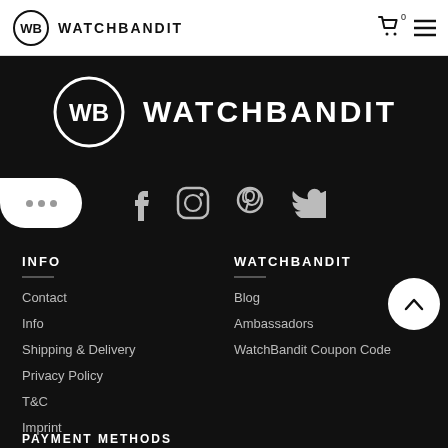WATCHBANDIT
[Figure (logo): WatchBandit logo with WB monogram in circle and WATCHBANDIT text, white on black background]
[Figure (infographic): Social media icons row: Facebook, Instagram, Pinterest, Twitter]
INFO
Contact
Info
Shipping & Delivery
Privacy Policy
T&C
Imprint
WATCHBANDIT
Blog
Ambassadors
WatchBandit Coupon Code
PAYMENT METHODS